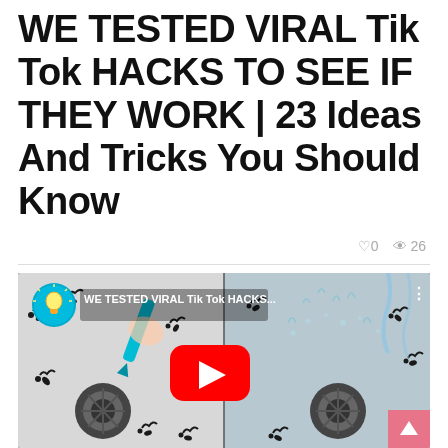WE TESTED VIRAL Tik Tok HACKS TO SEE IF THEY WORK | 23 Ideas And Tricks You Should Know
♡ 0  👁 26
[Figure (screenshot): YouTube video thumbnail showing a split-screen of a kitchen sink drain with black squiggles/bugs being removed using a teal tool on the left, and water splashing into the drain on the right. YouTube play button in center. Channel logo (teal circle with lightbulb) and title 'WE TESTED VIRAL Tik Tok HACKS...' shown in top-left. Three-dot menu top-right. Pink scroll-to-top button bottom-right corner.]